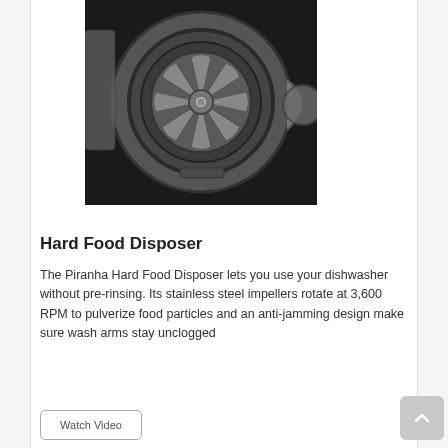[Figure (photo): Black and white close-up photograph of the Piranha Hard Food Disposer mechanism, showing a circular metal impeller/grinder unit with fan blades and a central bolt, set inside a housing.]
Hard Food Disposer
The Piranha Hard Food Disposer lets you use your dishwasher without pre-rinsing. Its stainless steel impellers rotate at 3,600 RPM to pulverize food particles and an anti-jamming design make sure wash arms stay unclogged
Watch Video